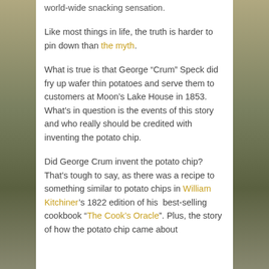world-wide snacking sensation.
Like most things in life, the truth is harder to pin down than the myth.
What is true is that George “Crum” Speck did fry up wafer thin potatoes and serve them to customers at Moon’s Lake House in 1853. What’s in question is the events of this story and who really should be credited with inventing the potato chip.
Did George Crum invent the potato chip? That’s tough to say, as there was a recipe to something similar to potato chips in William Kitchiner’s 1822 edition of his best-selling cookbook “The Cook’s Oracle”. Plus, the story of how the potato chip came about